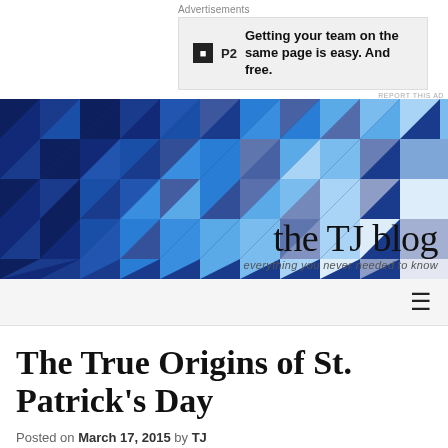Advertisements
[Figure (infographic): P2 advertisement: Getting your team on the same page is easy. And free.]
REPORT THIS AD
[Figure (infographic): The TJ blog header banner with blue geometric triangle pattern and blog title 'the TJ blog' and tagline 'everything you never needed to know']
☰
The True Origins of St. Patrick's Day
Posted on March 17, 2015 by TJ